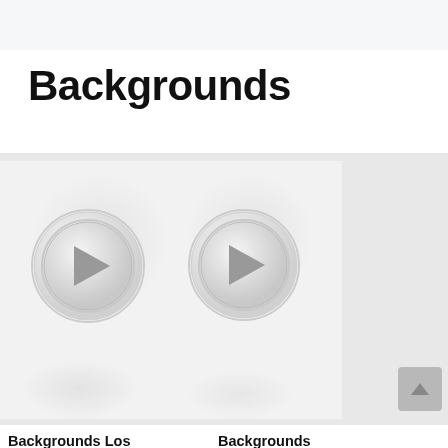Backgrounds
[Figure (screenshot): Two circular play buttons on a light gray background, representing video or audio background previews]
Backgrounds Los
Backgrounds